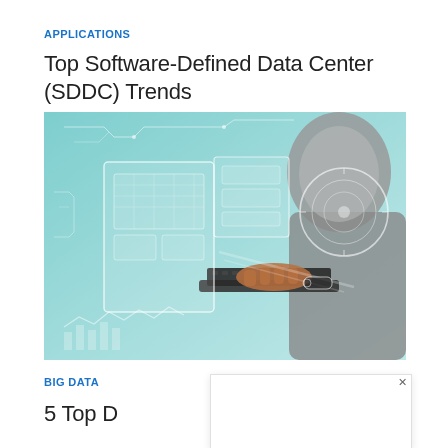APPLICATIONS
Top Software-Defined Data Center (SDDC) Trends
[Figure (photo): Person in grey hoodie typing on a laptop with glowing futuristic digital interface elements overlaid on a teal/cyan background, showing circuit boards, holographic screens, and data visualizations.]
BIG DATA
5 Top D